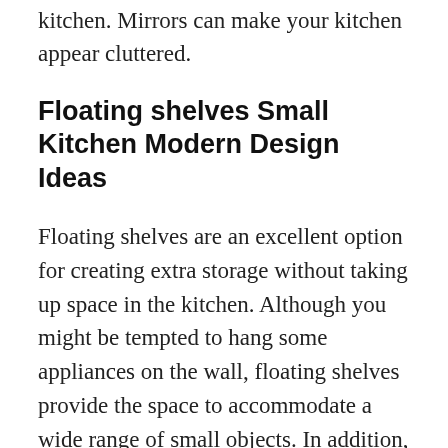kitchen. Mirrors can make your kitchen appear cluttered.
Floating shelves Small Kitchen Modern Design Ideas
Floating shelves are an excellent option for creating extra storage without taking up space in the kitchen. Although you might be tempted to hang some appliances on the wall, floating shelves provide the space to accommodate a wide range of small objects. In addition, you can use them to store larger kitchenware such as pots and pans. Floating shelves are also a great way to store gorgeous, yet seldom used, items. To